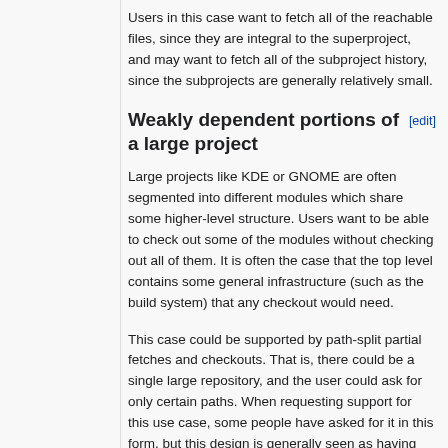Users in this case want to fetch all of the reachable files, since they are integral to the superproject, and may want to fetch all of the subproject history, since the subprojects are generally relatively small.
Weakly dependent portions of a large project
Large projects like KDE or GNOME are often segmented into different modules which share some higher-level structure. Users want to be able to check out some of the modules without checking out all of them. It is often the case that the top level contains some general infrastructure (such as the build system) that any checkout would need.
This case could be supported by path-split partial fetches and checkouts. That is, there could be a single large repository, and the user could ask for only certain paths. When requesting support for this use case, some people have asked for it in this form, but this design is generally seen as having problems.